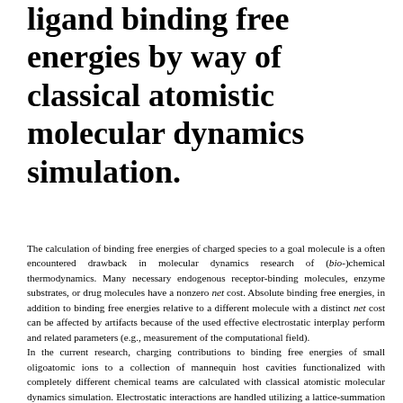ligand binding free energies by way of classical atomistic molecular dynamics simulation.
The calculation of binding free energies of charged species to a goal molecule is a often encountered drawback in molecular dynamics research of (bio-)chemical thermodynamics. Many necessary endogenous receptor-binding molecules, enzyme substrates, or drug molecules have a nonzero net cost. Absolute binding free energies, in addition to binding free energies relative to a different molecule with a distinct net cost can be affected by artifacts because of the used effective electrostatic interplay perform and related parameters (e.g., measurement of the computational field). In the current research, charging contributions to binding free energies of small oligoatomic ions to a collection of mannequin host cavities functionalized with completely different chemical teams are calculated with classical atomistic molecular dynamics simulation. Electrostatic interactions are handled utilizing a lattice-summation scheme or a cutoff-truncation scheme with Barker-Watts reaction-field correction, and the simulations are carried out in containers of various edge lengths. It is illustrated that the charging free energies of the visitor molecules in water and within the host strongly depend upon the utilized methodology and that neglect of correction phrases for the artifacts launched by the finite measurement of the simulated system and the usage of an effective electrostatic interplay perform significantly impairs the